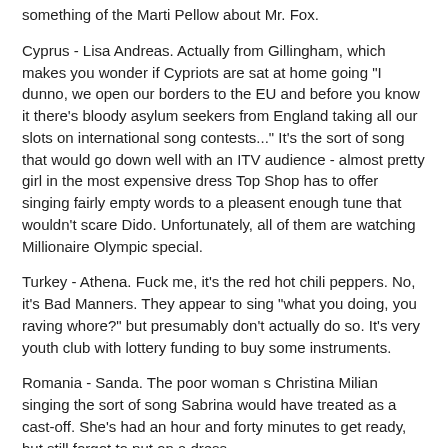something of the Marti Pellow about Mr. Fox.
Cyprus - Lisa Andreas. Actually from Gillingham, which makes you wonder if Cypriots are sat at home going "I dunno, we open our borders to the EU and before you know it there's bloody asylum seekers from England taking all our slots on international song contests..." It's the sort of song that would go down well with an ITV audience - almost pretty girl in the most expensive dress Top Shop has to offer singing fairly empty words to a pleasent enough tune that wouldn't scare Dido. Unfortunately, all of them are watching Millionaire Olympic special.
Turkey - Athena. Fuck me, it's the red hot chili peppers. No, it's Bad Manners. They appear to sing "what you doing, you raving whore?" but presumably don't actually do so. It's very youth club with lottery funding to buy some instruments.
Romania - Sanda. The poor woman s Christina Milian singing the sort of song Sabrina would have treated as a cast-off. She's had an hour and forty minutes to get ready, but still forgot to put on a dress.